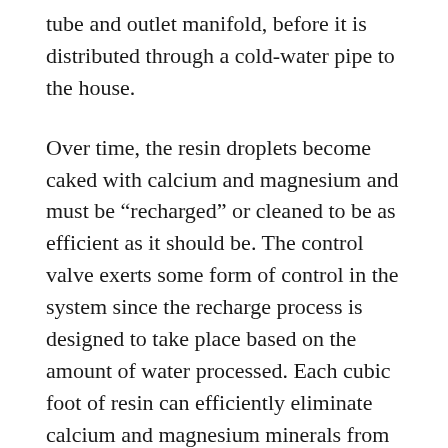tube and outlet manifold, before it is distributed through a cold-water pipe to the house.
Over time, the resin droplets become caked with calcium and magnesium and must be “recharged” or cleaned to be as efficient as it should be. The control valve exerts some form of control in the system since the recharge process is designed to take place based on the amount of water processed. Each cubic foot of resin can efficiently eliminate calcium and magnesium minerals from about 3,200 gallons of hard water. By contrast, about 750mg of sodium is in turn added each water gallon. This sodium content is considered as low range.